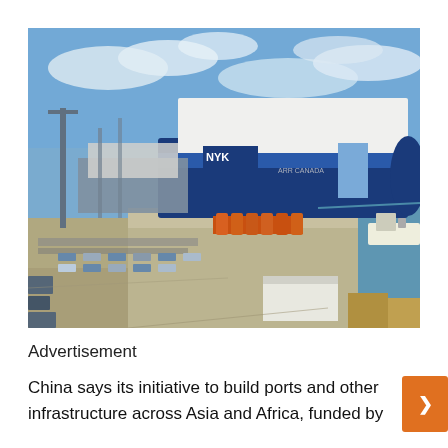[Figure (photo): Aerial/elevated view of a large blue and white cargo/vehicle carrier ship docked at a port. The port area shows rows of vehicles, shipping containers, trucks, and a flat arid landscape. The ship has 'NYK' markings visible. Blue sky with clouds in the background.]
Advertisement
China says its initiative to build ports and other infrastructure across Asia and Africa, funded by